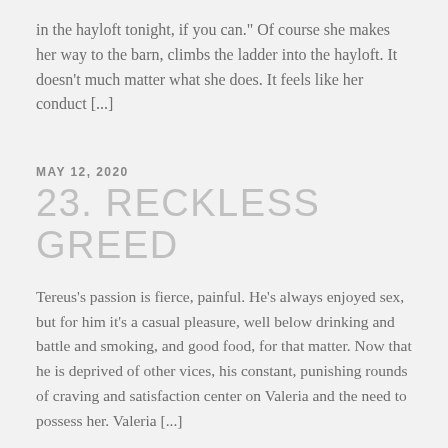in the hayloft tonight, if you can." Of course she makes her way to the barn, climbs the ladder into the hayloft. It doesn't much matter what she does. It feels like her conduct [...]
MAY 12, 2020
23. RECKLESS GREED
Tereus's passion is fierce, painful. He's always enjoyed sex, but for him it's a casual pleasure, well below drinking and battle and smoking, and good food, for that matter. Now that he is deprived of other vices, his constant, punishing rounds of craving and satisfaction center on Valeria and the need to possess her. Valeria [...]